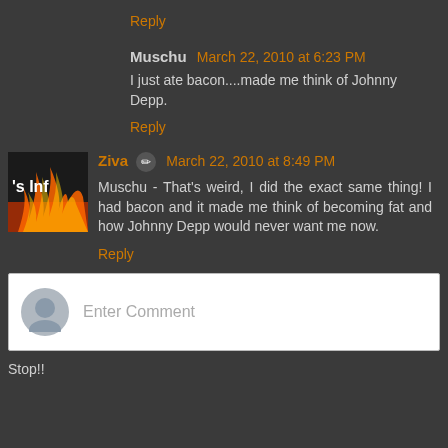Reply
Muschu  March 22, 2010 at 6:23 PM
I just ate bacon....made me think of Johnny Depp.
Reply
Ziva  March 22, 2010 at 8:49 PM
Muschu - That's weird, I did the exact same thing! I had bacon and it made me think of becoming fat and how Johnny Depp would never want me now.
Reply
Enter Comment
Stop!!